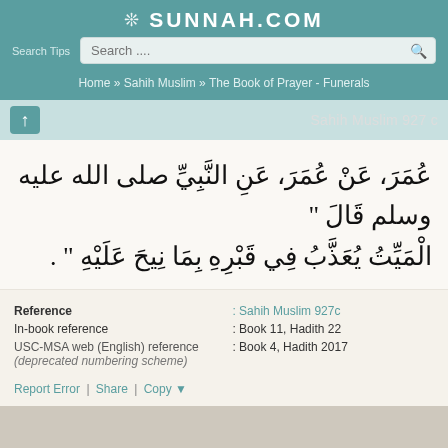❊ SUNNAH.COM
Search Tips   Search ...
Home » Sahih Muslim » The Book of Prayer - Funerals
Sahih Muslim 927 c
عُمَرَ، عَنْ عُمَرَ، عَنِ النَّبِيِّ صلى الله عليه وسلم قَالَ " الْمَيِّتُ يُعَذَّبُ فِي قَبْرِهِ بِمَا نِيحَ عَلَيْهِ " .
| Reference label | Reference value |
| --- | --- |
| Reference | : Sahih Muslim 927c |
| In-book reference | : Book 11, Hadith 22 |
| USC-MSA web (English) reference (deprecated numbering scheme) | : Book 4, Hadith 2017 |
Report Error | Share | Copy ▼